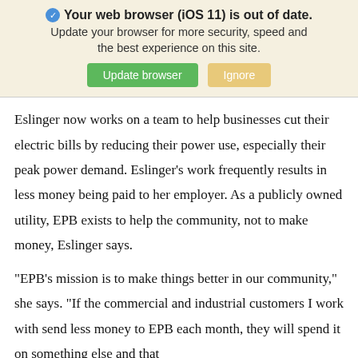[Figure (screenshot): Browser update warning banner with shield icon, bold text 'Your web browser (iOS 11) is out of date.', subtitle text, green 'Update browser' button, and tan 'Ignore' button on a beige background.]
Eslinger now works on a team to help businesses cut their electric bills by reducing their power use, especially their peak power demand. Eslinger's work frequently results in less money being paid to her employer. As a publicly owned utility, EPB exists to help the community, not to make money, Eslinger says.
"EPB's mission is to make things better in our community," she says. "If the commercial and industrial customers I work with send less money to EPB each month, they will spend it on something else and that